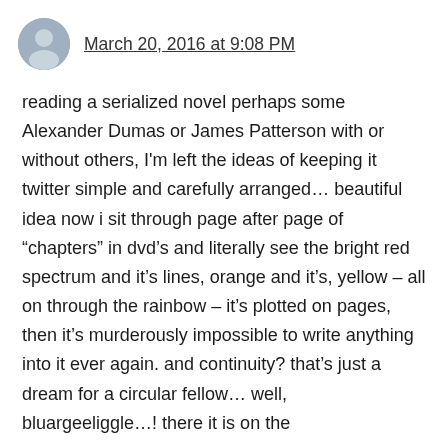March 20, 2016 at 9:08 PM
reading a serialized novel perhaps some Alexander Dumas or James Patterson with or without others, I'm left the ideas of keeping it twitter simple and carefully arranged… beautiful idea now i sit through page after page of “chapters” in dvd’s and literally see the bright red spectrum and it’s lines, orange and it’s, yellow – all on through the rainbow – it’s plotted on pages, then it’s murderously impossible to write anything into it ever again. and continuity? that’s just a dream for a circular fellow… well, bluargeeliggle…! there it is on the